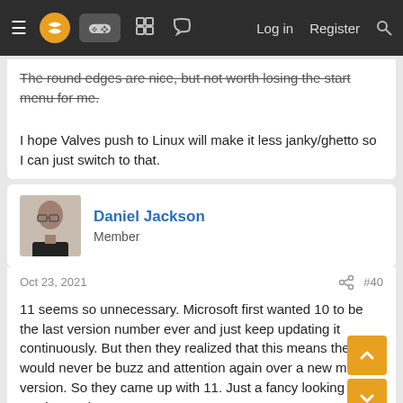Navigation bar with menu, logo, gamepad icon, forum icons, Log in, Register, Search
The round edges are nice, but not worth losing the start menu for me.

I hope Valves push to Linux will make it less janky/ghetto so I can just switch to that.
Daniel Jackson
Member
Oct 23, 2021   #40
11 seems so unnecessary. Microsoft first wanted 10 to be the last version number ever and just keep updating it continuously. But then they realized that this means there would never be buzz and attention again over a new major version. So they came up with 11. Just a fancy looking service pack